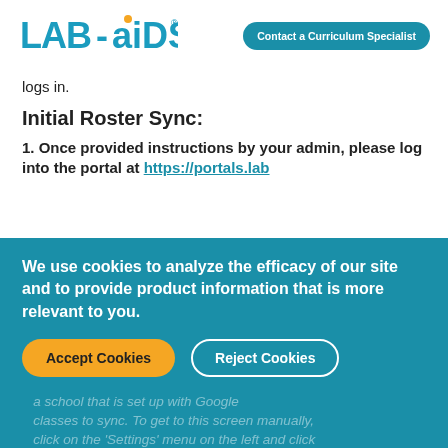[Figure (logo): Lab-aids logo in teal/blue with orange dot above the 'i' in 'aids']
Contact a Curriculum Specialist
logs in.
Initial Roster Sync:
1. Once provided instructions by your admin, please log into the portal at https://portals.lab
We use cookies to analyze the efficacy of our site and to provide product information that is more relevant to you.
Accept Cookies
Reject Cookies
a school that is set up with Google...
classes to sync. To get to this screen manually, click on the 'Settings' menu on the left and click 'Google Classroom V2'.
2. If rosters are ready for the current school